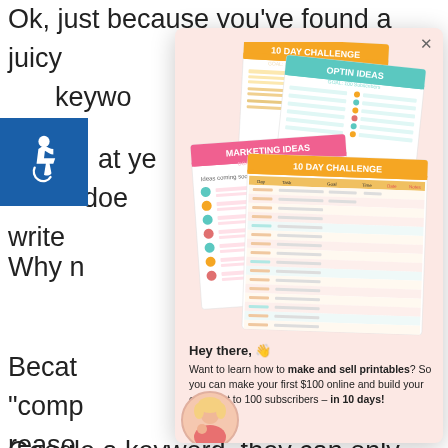Ok, just because you've found a juicy keyword... at you... does... write...
Why n...
Becau... "comp... reaso... top 1...
[Figure (illustration): Accessibility icon — white wheelchair symbol on blue background square]
[Figure (screenshot): Modal popup with pink background showing stacked printable document covers: '10 DAY CHALLENGE', 'OPTIN IDEAS', 'MARKETING IDEAS', '10 DAY CHALLENGE' table. Below the images: 'Hey there, 👋' headline and body text 'Want to learn how to make and sell printables? So you can make your first $100 online and build your email list to 100 subscribers – in 10 days!' with a woman's avatar photo.]
Hey there, 👋
Want to learn how to make and sell printables? So you can make your first $100 online and build your email list to 100 subscribers – in 10 days!
Google a keyword, they can only show